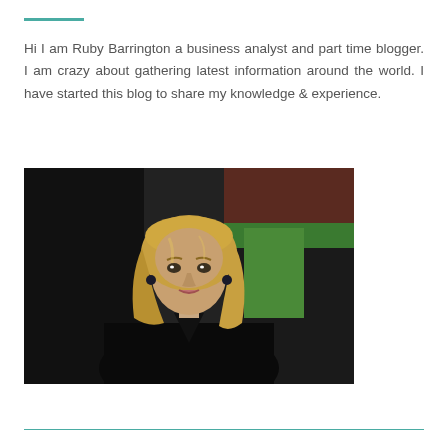Hi I am Ruby Barrington a business analyst and part time blogger. I am crazy about gathering latest information around the world. I have started this blog to share my knowledge & experience.
[Figure (photo): Portrait photo of a woman with blonde wavy hair, wearing a black top, smiling slightly, with a dark background with green and red elements.]